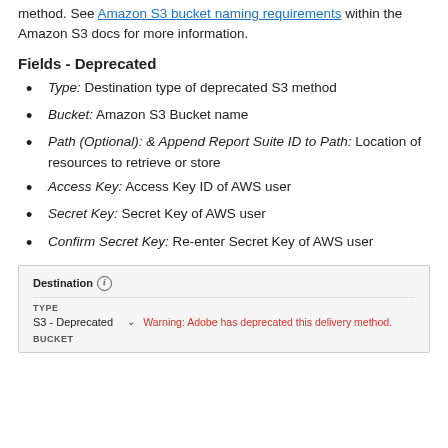method. See Amazon S3 bucket naming requirements within the Amazon S3 docs for more information.
Fields - Deprecated
Type: Destination type of deprecated S3 method
Bucket: Amazon S3 Bucket name
Path (Optional): & Append Report Suite ID to Path: Location of resources to retrieve or store
Access Key: Access Key ID of AWS user
Secret Key: Secret Key of AWS user
Confirm Secret Key: Re-enter Secret Key of AWS user
[Figure (screenshot): Screenshot of Destination UI showing TYPE field with 'S3 - Deprecated' selected and a red warning: 'Warning: Adobe has deprecated this delivery method.' followed by BUCKET field label.]